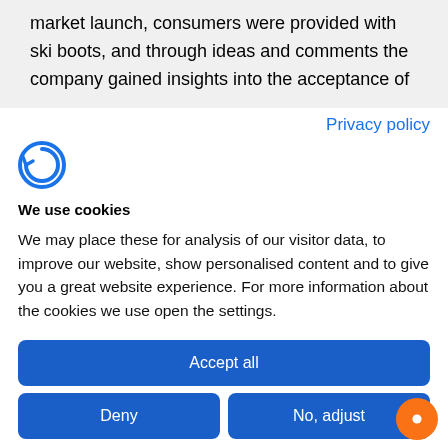market launch, consumers were provided with ski boots, and through ideas and comments the company gained insights into the acceptance of
Privacy policy
[Figure (logo): Cookie consent logo - circular arrow icon in blue]
We use cookies
We may place these for analysis of our visitor data, to improve our website, show personalised content and to give you a great website experience. For more information about the cookies we use open the settings.
Accept all
Deny
No, adjust